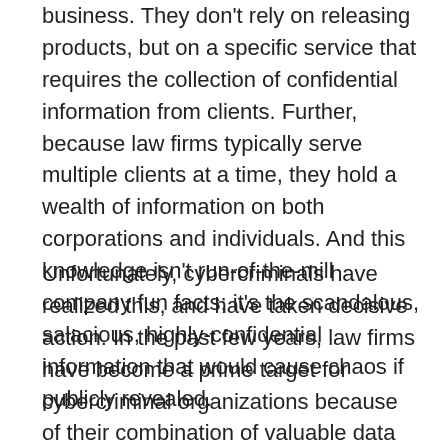business. They don't rely on releasing products, but on a specific service that requires the collection of confidential information from clients. Further, because law firms typically serve multiple clients at a time, they hold a wealth of information on both corporations and individuals. And this knowledge isn't run-of-the-mill company fun facts; it's the scandalous, salacious, highly-confidential information that would cause chaos if publicly revealed.
Unfortunately, cybercriminals have realized this, and have taken decisive action. In the past few years, law firms have become a prime target for cybercriminal organizations because of their combination of valuable data and relatively lax cybersecurity. This culminated in a 2020 attack by REvil, a notorious ransomware gang, on